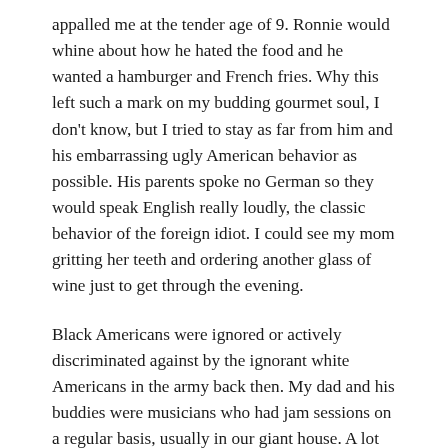appalled me at the tender age of 9. Ronnie would whine about how he hated the food and he wanted a hamburger and French fries. Why this left such a mark on my budding gourmet soul, I don't know, but I tried to stay as far from him and his embarrassing ugly American behavior as possible. His parents spoke no German so they would speak English really loudly, the classic behavior of the foreign idiot. I could see my mom gritting her teeth and ordering another glass of wine just to get through the evening.
Black Americans were ignored or actively discriminated against by the ignorant white Americans in the army back then. My dad and his buddies were musicians who had jam sessions on a regular basis, usually in our giant house. A lot of the musicians were black and in and out of our house on a regular basis. I noticed immediately the Germans were pretty color blind even in the 1950s,  treating the African Americans as equals. One night Bing Crosby's son came to our house to jam although I had no idea for years who that guy was. It